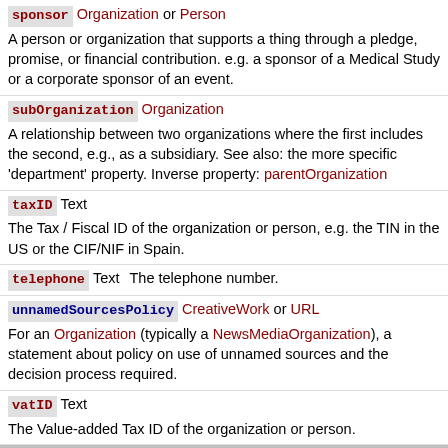sponsor Organization or Person — A person or organization that supports a thing through a pledge, promise, or financial contribution. e.g. a sponsor of a Medical Study or a corporate sponsor of an event.
subOrganization Organization — A relationship between two organizations where the first includes the second, e.g., as a subsidiary. See also: the more specific 'department' property. Inverse property: parentOrganization
taxID Text — The Tax / Fiscal ID of the organization or person, e.g. the TIN in the US or the CIF/NIF in Spain.
telephone Text — The telephone number.
unnamedSourcesPolicy CreativeWork or URL — For an Organization (typically a NewsMediaOrganization), a statement about policy on use of unnamed sources and the decision process required.
vatID Text — The Value-added Tax ID of the organization or person.
Properties from Thing
additionalType URL — An additional type for the item, typically used for adding more specific types from external vocabularies in microdata syntax. This is a relationship between something and a class that the thing is in. In RDFa syntax, it is better to use the native RDFa syntax - the 'typeof' attribute - for multiple types. Schema.org tools may have